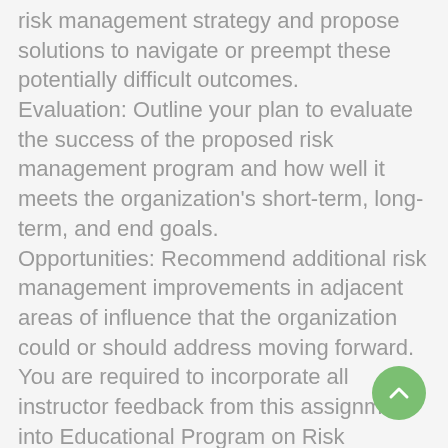risk management strategy and propose solutions to navigate or preempt these potentially difficult outcomes. Evaluation: Outline your plan to evaluate the success of the proposed risk management program and how well it meets the organization's short-term, long-term, and end goals. Opportunities: Recommend additional risk management improvements in adjacent areas of influence that the organization could or should address moving forward. You are required to incorporate all instructor feedback from this assignment into Educational Program on Risk Management Part Two Slide Presentation